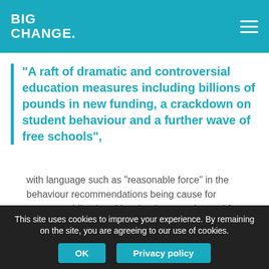BIG CHANGE.
“A raft of dramatic and controversial education measures including billions of pounds in new funding, a crackdown on student behaviour and a further wave of free schools”,
with language such as “reasonable force” in the behaviour recommendations being cause for concern, while also citing that increased spend for schools and plans to raise teachers’ salaries would likely be welcomed. However, the Guardian also points out that this could come at a cost, particularly slashing provision for Teaching Assistants.
This site uses cookies to improve your experience. By remaining on the site, you are agreeing to our use of cookies.